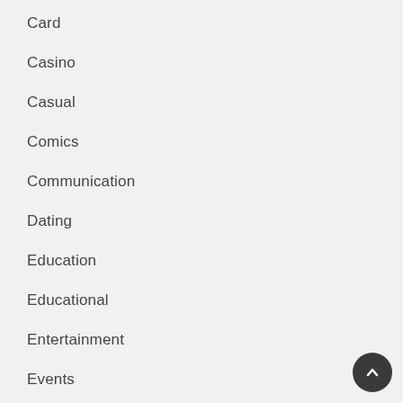Card
Casino
Casual
Comics
Communication
Dating
Education
Educational
Entertainment
Events
Family
Finance
Fitness
Food and Drink